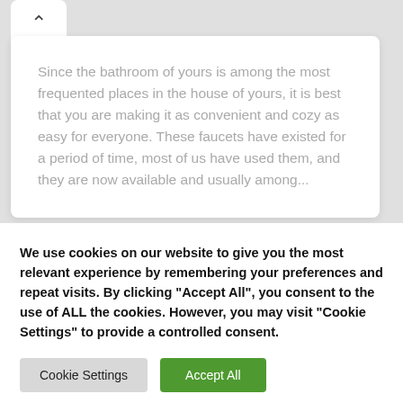Since the bathroom of yours is among the most frequented places in the house of yours, it is best that you are making it as convenient and cozy as easy for everyone. These faucets have existed for a period of time, most of us have used them, and they are now available and usually among...
We use cookies on our website to give you the most relevant experience by remembering your preferences and repeat visits. By clicking "Accept All", you consent to the use of ALL the cookies. However, you may visit "Cookie Settings" to provide a controlled consent.